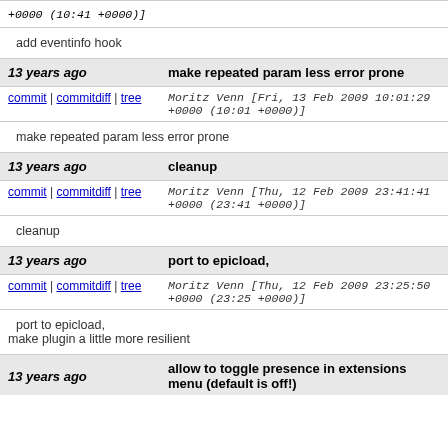+0000 (10:41 +0000)]
add eventinfo hook
13 years ago   make repeated param less error prone
commit | commitdiff | tree   Moritz Venn [Fri, 13 Feb 2009 10:01:29 +0000 (10:01 +0000)]
make repeated param less error prone
13 years ago   cleanup
commit | commitdiff | tree   Moritz Venn [Thu, 12 Feb 2009 23:41:41 +0000 (23:41 +0000)]
cleanup
13 years ago   port to epicload,
commit | commitdiff | tree   Moritz Venn [Thu, 12 Feb 2009 23:25:50 +0000 (23:25 +0000)]
port to epicload,
make plugin a little more resilient
13 years ago   allow to toggle presence in extensions menu (default is off!)